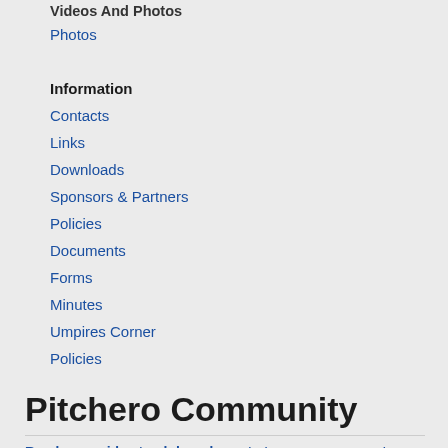Videos And Photos
Photos
Information
Contacts
Links
Downloads
Sponsors & Partners
Policies
Documents
Forms
Minutes
Umpires Corner
Policies
Pitchero Community
Read our guides to club and sports team management,